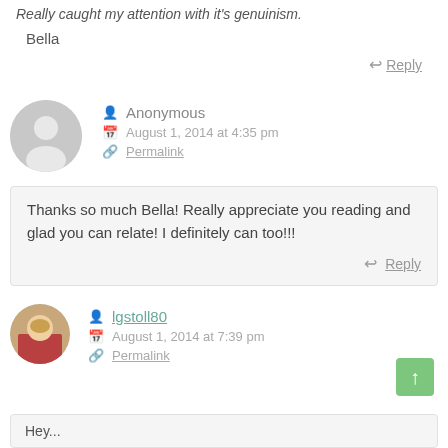Really caught my attention with it's genuinism.
Bella
Reply
Anonymous
August 1, 2014 at 4:35 pm
Permalink
Thanks so much Bella! Really appreciate you reading and glad you can relate! I definitely can too!!!
Reply
lgstoll80
August 1, 2014 at 7:39 pm
Permalink
Hey...